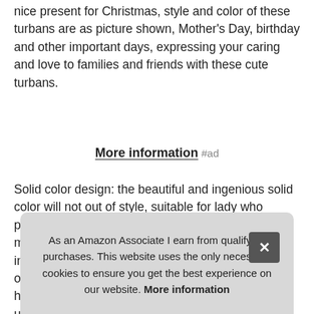nice present for Christmas, style and color of these turbans are as picture shown, Mother's Day, birthday and other important days, expressing your caring and love to families and friends with these cute turbans.
More information #ad
Solid color design: the beautiful and ingenious solid color will not out of style, suitable for lady who pursues the fashion; These turban headwraps can match most clothes and will make you eye catching in many occasions. Material: the turban hat is made of quality fabric; lightweight and breathable, with head circ up,
As an Amazon Associate I earn from qualifying purchases. This website uses the only necessary cookies to ensure you get the best experience on our website. More information